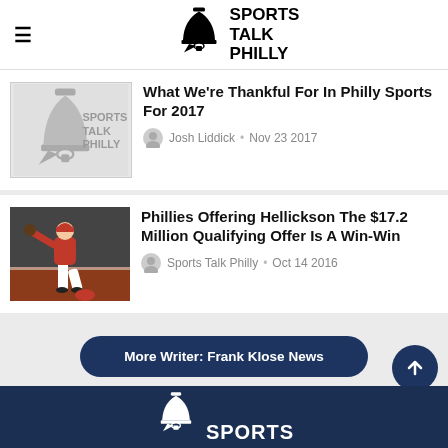[Figure (logo): Sports Talk Philly logo with liberty bell icon and brand name in bold uppercase text]
What We're Thankful For In Philly Sports For 2017
Josh Liddick • Nov 23 2017
Phillies Offering Hellickson The $17.2 Million Qualifying Offer Is A Win-Win
Sports Talk Philly • Oct 14 2016
More Writer: Frank Klose News
[Figure (logo): Sports Talk Philly footer logo on dark navy background, partial view showing bell icon and SPORTS text]